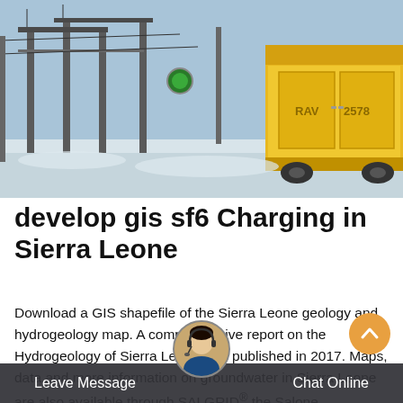[Figure (photo): Photograph of a yellow truck/vehicle at an electrical substation or switchyard in winter (snow on ground). Large transformer or GIS equipment visible in background, overhead power lines and structures.]
develop gis sf6 Charging in Sierra Leone
Download a GIS shapefile of the Sierra Leone geology and hydrogeology map. A comprehensive report on the Hydrogeology of Sierra Leone was published in 2017. Maps, data and more information on groundwater in Sierra Leone are also available through SALGRID® the Salone Groundwater Resources Database